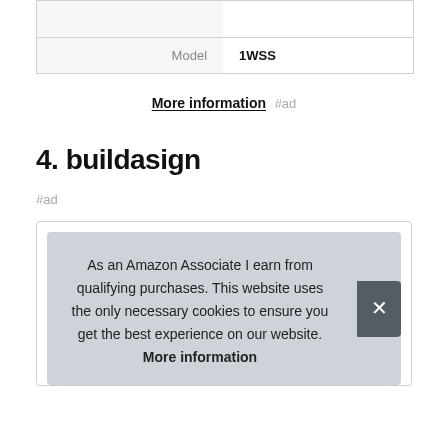|  |  |
| --- | --- |
|  |  |
| Model | 1WSS |
More information #ad
4. buildasign
#ad
As an Amazon Associate I earn from qualifying purchases. This website uses the only necessary cookies to ensure you get the best experience on our website. More information